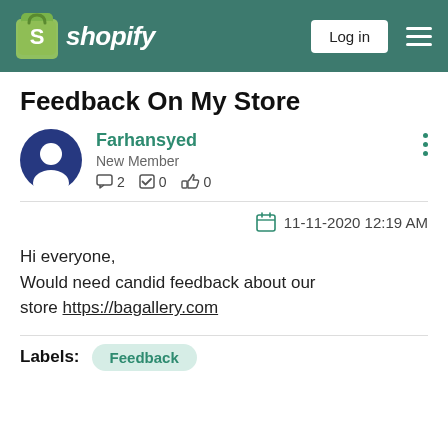shopify | Log in
Feedback On My Store
Farhansyed
New Member
2  0  0
11-11-2020 12:19 AM
Hi everyone,
Would need candid feedback about our store https://bagallery.com
Labels: Feedback